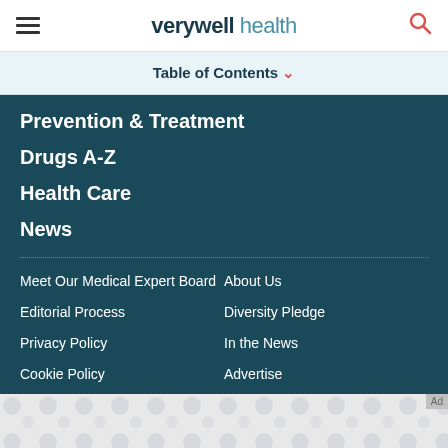verywell health
Table of Contents
Prevention & Treatment
Drugs A-Z
Health Care
News
Meet Our Medical Expert Board
About Us
Editorial Process
Diversity Pledge
Privacy Policy
In the News
Cookie Policy
Advertise
[Figure (other): Advertisement placeholder with grey pattern background]